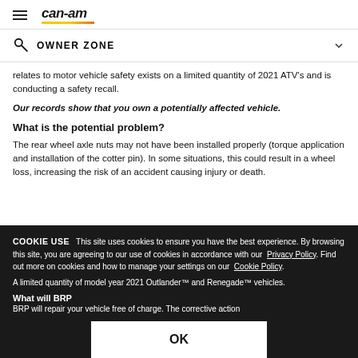can-am
OWNER ZONE
relates to motor vehicle safety exists on a limited quantity of 2021 ATV's and is conducting a safety recall.
Our records show that you own a potentially affected vehicle.
What is the potential problem?
The rear wheel axle nuts may not have been installed properly (torque application and installation of the cotter pin). In some situations, this could result in a wheel loss, increasing the risk of an accident causing injury or death.
COOKIE USE  This site uses cookies to ensure you have the best experience. By browsing this site, you are agreeing to our use of cookies in accordance with our Privacy Policy. Find out more on cookies and how to manage your settings on our Cookie Policy.
A limited quantity of model year 2021 Outlander™ and Renegade™ vehicles.
What will BRP
BRP will repair your vehicle free of charge. The corrective action